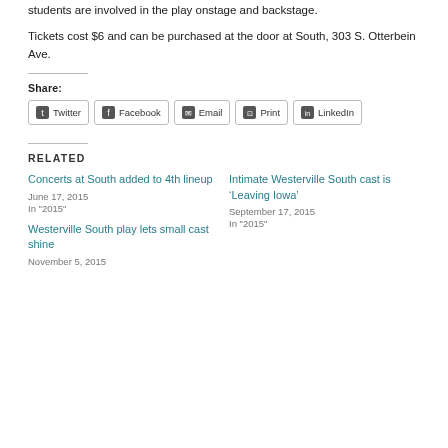students are involved in the play onstage and backstage.
Tickets cost $6 and can be purchased at the door at South, 303 S. Otterbein Ave.
Share:
Twitter Facebook Email Print LinkedIn
Related
Concerts at South added to 4th lineup
June 17, 2015
In "2015"
Intimate Westerville South cast is ‘Leaving Iowa’
September 17, 2015
In "2015"
Westerville South play lets small cast shine
November 5, 2015